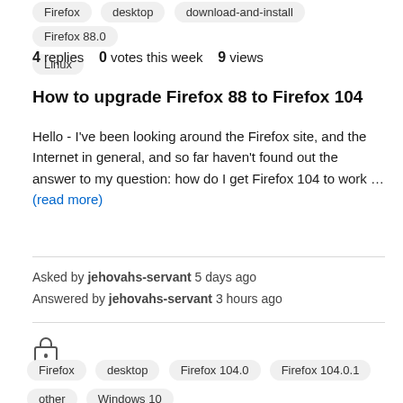Firefox  desktop  download-and-install  Firefox 88.0  Linux
4 replies  0 votes this week  9 views
How to upgrade Firefox 88 to Firefox 104
Hello - I've been looking around the Firefox site, and the Internet in general, and so far haven't found out the answer to my question: how do I get Firefox 104 to work … (read more)
Asked by jehovahs-servant 5 days ago
Answered by jehovahs-servant 3 hours ago
[Figure (other): Lock icon indicating thread is locked]
Firefox  desktop  Firefox 104.0  Firefox 104.0.1
other  Windows 10